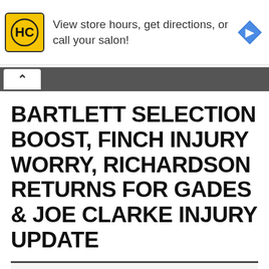[Figure (other): Advertisement banner for Hair Club (HC) salon with yellow logo, text 'View store hours, get directions, or call your salon!' and a blue navigation diamond icon]
BARTLETT SELECTION BOOST, FINCH INJURY WORRY, RICHARDSON RETURNS FOR GADES & JOE CLARKE INJURY UPDATE
Posted on December 28, 2021 | by Ben Somerford